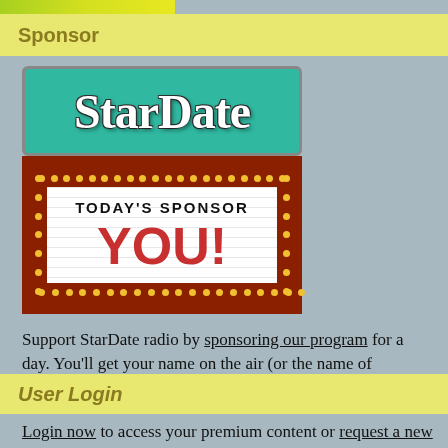Sponsor
[Figure (illustration): StarDate logo on teal background with a marquee sign below reading TODAY'S SPONSOR YOU! in red letters, surrounded by yellow dot lights on dark red border]
Support StarDate radio by sponsoring our program for a day. You'll get your name on the air (or the name of someone else you would like to honor) and on our web site.
User Login
Login now to access your premium content or request a new password if you've forgotten yours.